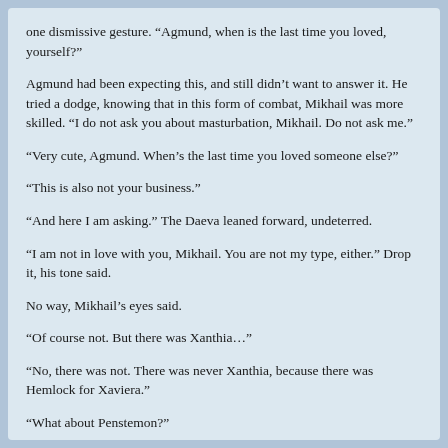one dismissive gesture. “Agmund, when is the last time you loved, yourself?”
Agmund had been expecting this, and still didn’t want to answer it. He tried a dodge, knowing that in this form of combat, Mikhail was more skilled. “I do not ask you about masturbation, Mikhail. Do not ask me.”
“Very cute, Agmund. When’s the last time you loved someone else?”
“This is also not your business.”
“And here I am asking.” The Daeva leaned forward, undeterred.
“I am not in love with you, Mikhail. You are not my type, either.” Drop it, his tone said.
No way, Mikhail’s eyes said.
“Of course not. But there was Xanthia…”
“No, there was not. There was never Xanthia, because there was Hemlock for Xaviera.”
“What about Penstemon?”